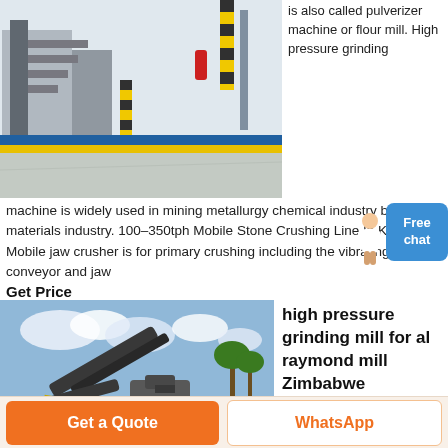[Figure (photo): Industrial building with staircase and yellow hazard markings on floor, machinery visible indoors]
is also called pulverizer machine or flour mill. High pressure grinding machine is widely used in mining metallurgy chemical industry building materials industry. 100–350tph Mobile Stone Crushing Line In Kenya. Mobile jaw crusher is for primary crushing including the vibrating feeder conveyor and jaw
Get Price
[Figure (photo): Outdoor mobile stone crushing line with conveyor belts, crushers, piles of aggregate, palm trees in background, Kenya]
high pressure grinding mill for al raymond mill Zimbabwe
High Pressure Grinding Mill High Pressure Grinding High...
Get a Quote   WhatsApp